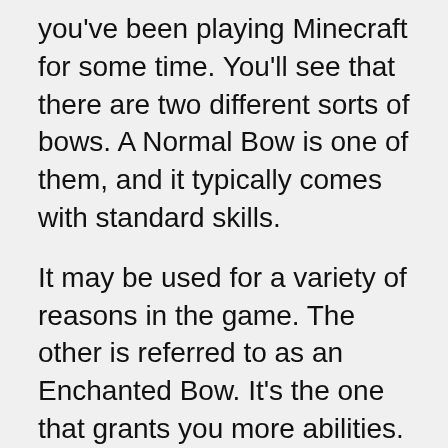you've been playing Minecraft for some time. You'll see that there are two different sorts of bows. A Normal Bow is one of them, and it typically comes with standard skills.
It may be used for a variety of reasons in the game. The other is referred to as an Enchanted Bow. It's the one that grants you more abilities. Because of their talents, it allows the players to obtain much greater goods than the ordinary ones.
In any case, you should be aware that both of these bows are prone to breaking with repeated usage. To keep utilizing them in the game, you'll have to fix them. For your knowledge, both Bows and Enchanted B...